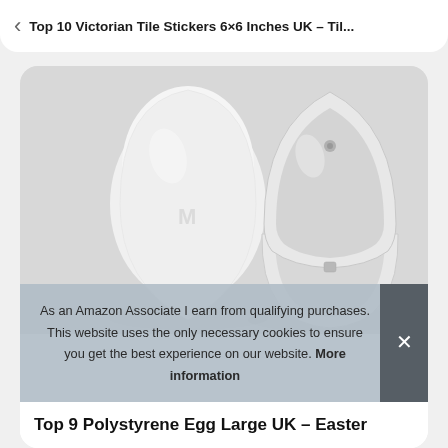Top 10 Victorian Tile Stickers 6×6 Inches UK – Til...
[Figure (photo): Two white polystyrene eggs on a light grey background. The left egg is closed and solid. The right egg is open/hollow showing its two halves separated at the middle.]
As an Amazon Associate I earn from qualifying purchases. This website uses the only necessary cookies to ensure you get the best experience on our website. More information
Top 9 Polystyrene Egg Large UK – Easter